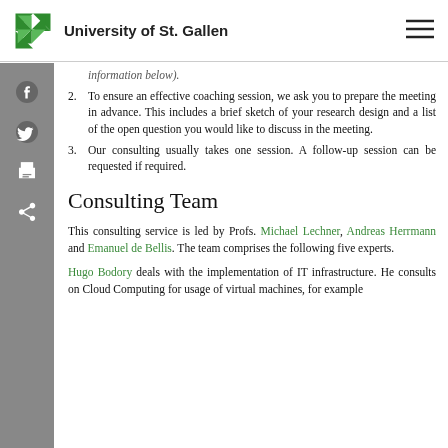University of St. Gallen
information below).
2. To ensure an effective coaching session, we ask you to prepare the meeting in advance. This includes a brief sketch of your research design and a list of the open question you would like to discuss in the meeting.
3. Our consulting usually takes one session. A follow-up session can be requested if required.
Consulting Team
This consulting service is led by Profs. Michael Lechner, Andreas Herrmann and Emanuel de Bellis. The team comprises the following five experts.
Hugo Bodory deals with the implementation of IT infrastructure. He consults on Cloud Computing for usage of virtual machines, for example